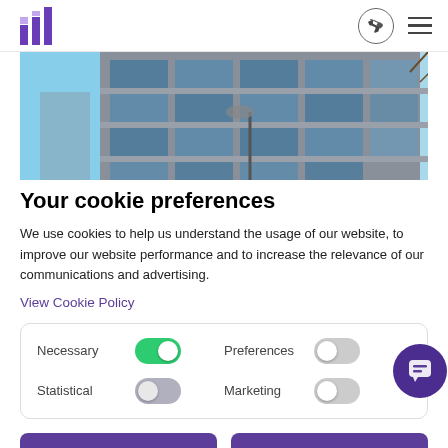Logo and navigation icons
[Figure (photo): Tall glass office building facade with blue sky background]
Your cookie preferences
We use cookies to help us understand the usage of our website, to improve our website performance and to increase the relevance of our communications and advertising.
View Cookie Policy
Necessary [toggle on] Preferences [toggle off] Statistical [toggle off] Marketing [toggle off]
Accept all cookies
Allow selection